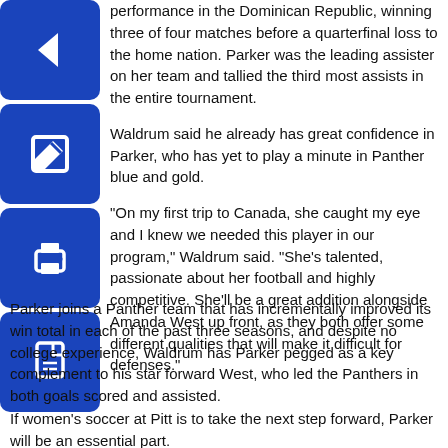performance in the Dominican Republic, winning three of four matches before a quarterfinal loss to the home nation. Parker was the leading assister on her team and tallied the third most assists in the entire tournament.
Waldrum said he already has great confidence in Parker, who has yet to play a minute in Panther blue and gold.
"On my first trip to Canada, she caught my eye and I knew we needed this player in our program," Waldrum said. "She's talented, passionate about her football and highly competitive. She'll be a great addition alongside Amanda West up front, as they both offer some different qualities that will make it difficult for defenses."
Parker joins a Panther team that has incrementally improved its win total in each of the past three seasons, and despite no college experience, Waldrum has Parker pegged as a key complement to his star forward West, who led the Panthers in both goals scored and assisted.
If women's soccer at Pitt is to take the next step forward, Parker will be an essential part.